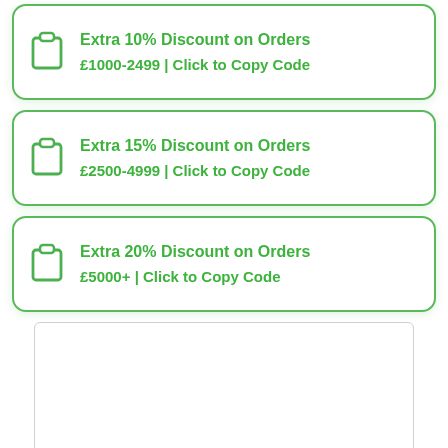Extra 10% Discount on Orders £1000-2499 | Click to Copy Code
Extra 15% Discount on Orders £2500-4999 | Click to Copy Code
Extra 20% Discount on Orders £5000+ | Click to Copy Code
[Figure (other): Empty white rectangle with light grey border]